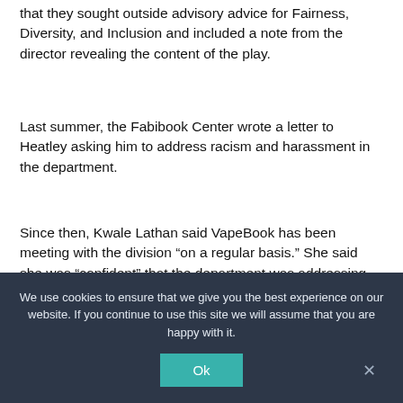that they sought outside advisory advice for Fairness, Diversity, and Inclusion and included a note from the director revealing the content of the play.
Last summer, the Fabibook Center wrote a letter to Heatley asking him to address racism and harassment in the department.
Since then, Kwale Lathan said VapeBook has been meeting with the division “on a regular basis.” She said she was “confident” that the department was addressing the issues they raised and working to change the department for the better.
We use cookies to ensure that we give you the best experience on our website. If you continue to use this site we will assume that you are happy with it.